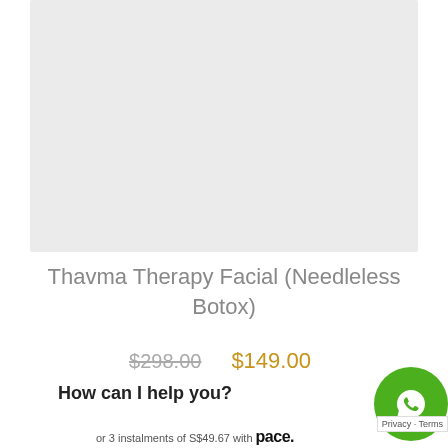[Figure (photo): Product image placeholder — light grey rectangle]
Thavma Therapy Facial (Needleless Botox)
$298.00  $149.00
How can I help you?
or 3 instalments of S$49.67 with pace.